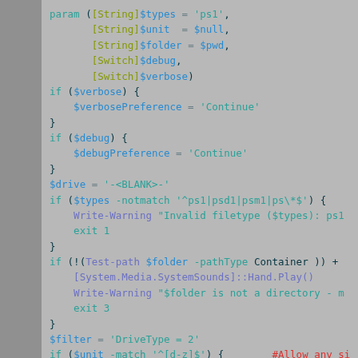[Figure (screenshot): PowerShell script code snippet showing parameter declaration, verbose/debug preference setting, drive variable, file type validation, folder path check, and filter initialization. Syntax-highlighted with colored tokens on a gray background.]